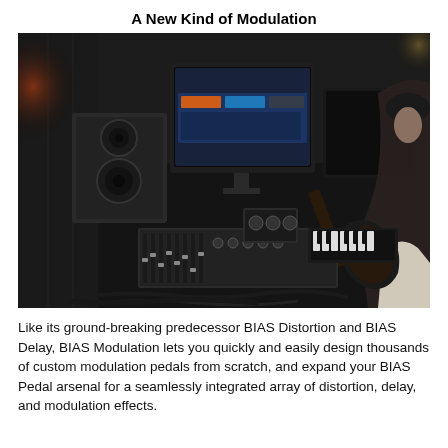A New Kind of Modulation
[Figure (photo): A musician in a dark recording studio holding a guitar, sitting in front of mixing console, audio equipment, studio monitors, and iMac computers displaying music software (BIAS).]
Like its ground-breaking predecessor BIAS Distortion and BIAS Delay, BIAS Modulation lets you quickly and easily design thousands of custom modulation pedals from scratch, and expand your BIAS Pedal arsenal for a seamlessly integrated array of distortion, delay, and modulation effects.